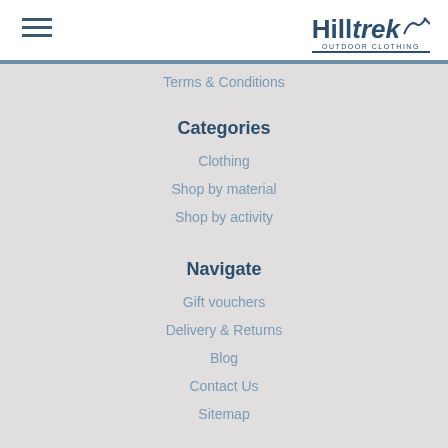[Figure (logo): Hilltrek Outdoor Clothing logo with hamburger menu icon]
Terms & Conditions
Categories
Clothing
Shop by material
Shop by activity
Navigate
Gift vouchers
Delivery & Returns
Blog
Contact Us
Sitemap
Info